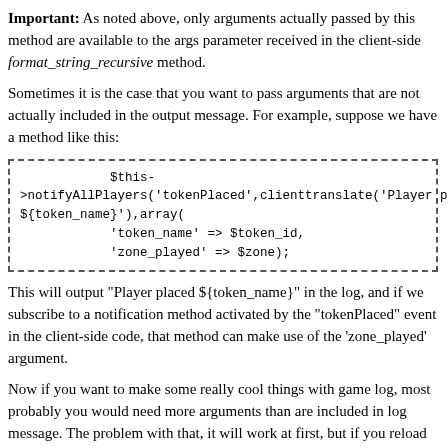Important: As noted above, only arguments actually passed by this method are available to the args parameter received in the client-side format_string_recursive method.
Sometimes it is the case that you want to pass arguments that are not actually included in the output message. For example, suppose we have a method like this:
$this->notifyAllPlayers('tokenPlaced',clienttranslate('Player placed ${token_name}'),array(
        'token_name' => $token_id,
        'zone_played' => $zone);
This will output "Player placed ${token_name}" in the log, and if we subscribe to a notification method activated by the "tokenPlaced" event in the client-side code, that method can make use of the 'zone_played' argument.
Now if you want to make some really cool things with game log, most probably you would need more arguments than are included in log message. The problem with that, it will work at first, but if you reload game using F5 or when the game loads in turn based mode, you will loose your additional parameters, why? Because when game reloads it does not actually send same notifications, it sends special